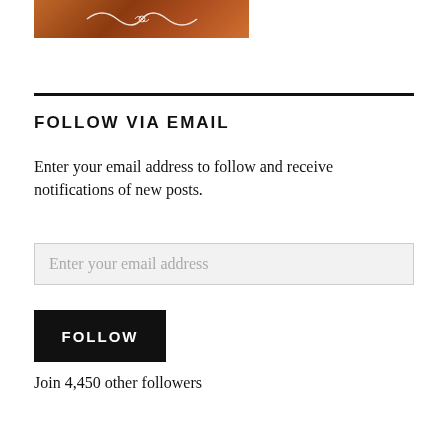[Figure (illustration): Decorative image with warm orange/brown gradient background and ornamental swirl/flourish design in white]
FOLLOW VIA EMAIL
Enter your email address to follow and receive notifications of new posts.
Enter your email address
FOLLOW
Join 4,450 other followers